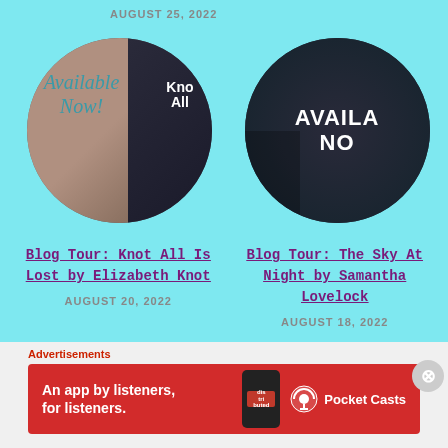AUGUST 25, 2022
[Figure (photo): Circular photo on left showing a mauve book cover with script text 'Available Now!' in teal and a dark book spine with white text 'Knot']
[Figure (photo): Circular photo on right showing a dark book cover with large white bold text 'AVAILABLE NOW']
Blog Tour: Knot All Is Lost by Elizabeth Knot
Blog Tour: The Sky At Night by Samantha Lovelock
AUGUST 20, 2022
AUGUST 18, 2022
Advertisements
[Figure (infographic): Red advertisement banner for Pocket Casts: 'An app by listeners, for listeners.' with phone graphic showing 'Distributed' and Pocket Casts logo]